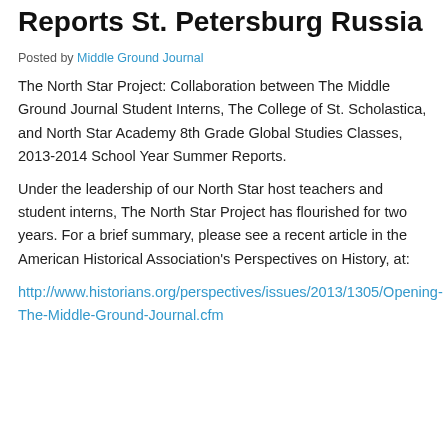Reports St. Petersburg Russia
Posted by Middle Ground Journal
The North Star Project: Collaboration between The Middle Ground Journal Student Interns, The College of St. Scholastica, and North Star Academy 8th Grade Global Studies Classes, 2013-2014 School Year Summer Reports.
Under the leadership of our North Star host teachers and student interns, The North Star Project has flourished for two years. For a brief summary, please see a recent article in the American Historical Association's Perspectives on History, at:
http://www.historians.org/perspectives/issues/2013/1305/Opening-The-Middle-Ground-Journal.cfm